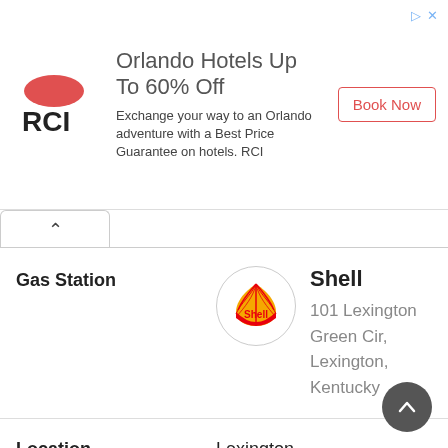[Figure (screenshot): RCI advertisement banner: Orlando Hotels Up To 60% Off. Exchange your way to an Orlando adventure with a Best Price Guarantee on hotels. RCI. Book Now button.]
Gas Station
[Figure (logo): Shell logo in circle]
Shell
101 Lexington Green Cir, Lexington, Kentucky
Location	Lexington
Regular	- --
Midgrade	- --